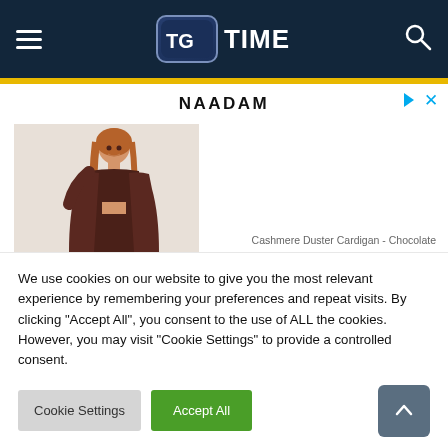TG TIME
[Figure (screenshot): NAADAM advertisement banner showing a woman wearing a Cashmere Duster Cardigan in Chocolate color]
We use cookies on our website to give you the most relevant experience by remembering your preferences and repeat visits. By clicking "Accept All", you consent to the use of ALL the cookies. However, you may visit "Cookie Settings" to provide a controlled consent.
Cookie Settings | Accept All